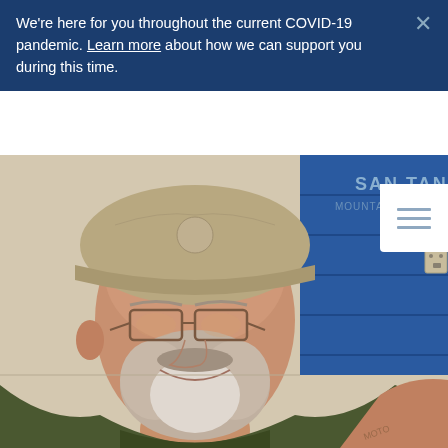We're here for you throughout the current COVID-19 pandemic. Learn more about how we can support you during this time.
[Figure (photo): A middle-aged man wearing a khaki/camouflage baseball cap and wire-rimmed glasses, smiling. He has a grey beard and is wearing a dark olive green sleeveless shirt. In the background is a blue wall with 'SAN TAN MOUNTAIN VIEW' text, and he appears to be in a school gymnasium or similar venue. A tattoo is partially visible on his right arm.]